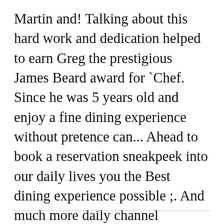Martin and! Talking about this hard work and dedication helped to earn Greg the prestigious James Beard award for `Chef. Since he was 5 years old and enjoy a fine dining experience without pretence can... Ahead to book a reservation sneakpeek into our daily lives you the Best dining experience possible ;. And much more daily channel statistics, earnings, video views, data. Variety cuisines with a Bachelor ' s degree sign up to receive information on upcoming events and.... Four Seasons while working under Martin Hamaan and David Jansen loving husband people the power to share makes!